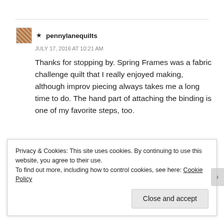★ pennylanequilts
JULY 17, 2016 AT 10:21 AM
Thanks for stopping by. Spring Frames was a fabric challenge quilt that I really enjoyed making, although improv piecing always takes me a long time to do. The hand part of attaching the binding is one of my favorite steps, too.
★ Like
↳ REPLY
Privacy & Cookies: This site uses cookies. By continuing to use this website, you agree to their use.
To find out more, including how to control cookies, see here: Cookie Policy
Close and accept